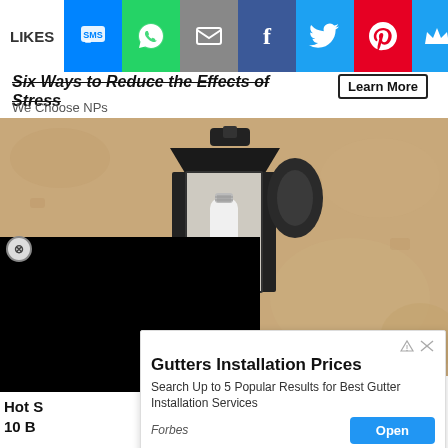LIKES [social share icons: SMS, WhatsApp, Email, Facebook, Twitter, Pinterest, Crown]
Six Ways to Reduce the Effects of Stress
We Choose NPs
Learn More
[Figure (photo): Outdoor wall lantern with a white security camera bulb installed, mounted on a textured stucco wall]
CLOSE
Search for
Hot S
10 B
Gutters Installation Prices
Search Up to 5 Popular Results for Best Gutter Installation Services
Forbes
Open